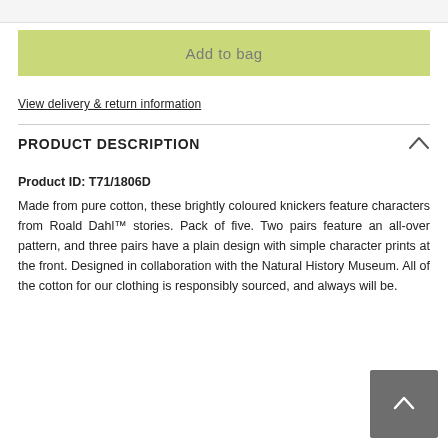Add to bag
View delivery & return information
PRODUCT DESCRIPTION
Product ID: T71/1806D
Made from pure cotton, these brightly coloured knickers feature characters from Roald Dahl™ stories. Pack of five. Two pairs feature an all-over pattern, and three pairs have a plain design with simple character prints at the front. Designed in collaboration with the Natural History Museum. All of the cotton for our clothing is responsibly sourced, and always will be.